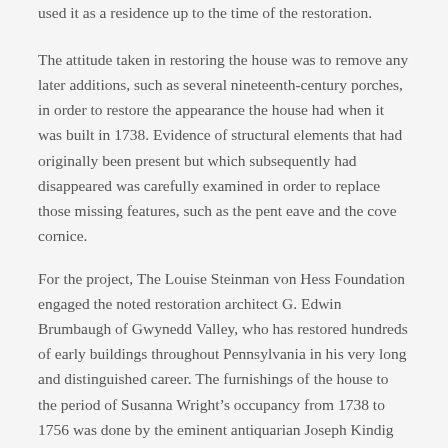used it as a residence up to the time of the restoration.
The attitude taken in restoring the house was to remove any later additions, such as several nineteenth-century porches, in order to restore the appearance the house had when it was built in 1738. Evidence of structural elements that had originally been present but which subsequently had disappeared was carefully examined in order to replace those missing features, such as the pent eave and the cove cornice.
For the project, The Louise Steinman von Hess Foundation engaged the noted restoration architect G. Edwin Brumbaugh of Gwynedd Valley, who has restored hundreds of early buildings throughout Pennsylvania in his very long and distinguished career. The furnishings of the house to the period of Susanna Wright’s occupancy from 1738 to 1756 was done by the eminent antiquarian Joseph Kindig III of York, acclaimed for his superlative knowledge and sensitivity to the history and decorative arts of eighteenth-century America. Thus, The Louise Steinman von Hess Foundation has created a rare and perfect marriage of early eighteenth-century architecture and furnishings.
As in the architecture, so in the furnishings, the English Quaker taste of Philadelphia reigns. The collection of rare